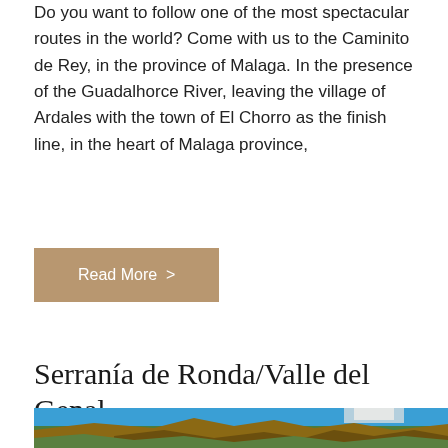Do you want to follow one of the most spectacular routes in the world? Come with us to the Caminito de Rey, in the province of Malaga. In the presence of the Guadalhorce River, leaving the village of Ardales with the town of El Chorro as the finish line, in the heart of Malaga province,
Read More >
Serranía de Ronda/Valle del Genal
[Figure (photo): Landscape photo of Ronda showing the famous Puente Nuevo bridge spanning a deep gorge with rocky cliffs, lush green hillsides, blue sky, and white buildings of the town perched on the clifftop in the background.]